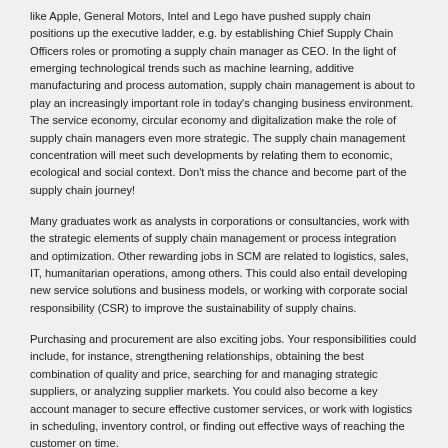like Apple, General Motors, Intel and Lego have pushed supply chain positions up the executive ladder, e.g. by establishing Chief Supply Chain Officers roles or promoting a supply chain manager as CEO. In the light of emerging technological trends such as machine learning, additive manufacturing and process automation, supply chain management is about to play an increasingly important role in today's changing business environment. The service economy, circular economy and digitalization make the role of supply chain managers even more strategic. The supply chain management concentration will meet such developments by relating them to economic, ecological and social context. Don't miss the chance and become part of the supply chain journey!
Many graduates work as analysts in corporations or consultancies, work with the strategic elements of supply chain management or process integration and optimization. Other rewarding jobs in SCM are related to logistics, sales, IT, humanitarian operations, among others. This could also entail developing new service solutions and business models, or working with corporate social responsibility (CSR) to improve the sustainability of supply chains.
Purchasing and procurement are also exciting jobs. Your responsibilities could include, for instance, strengthening relationships, obtaining the best combination of quality and price, searching for and managing strategic suppliers, or analyzing supplier markets. You could also become a key account manager to secure effective customer services, or work with logistics in scheduling, inventory control, or finding out effective ways of reaching the customer on time.
No matter which practical task you handle, you have the overall understanding of the processes and can point out when there is a better way of doing things.